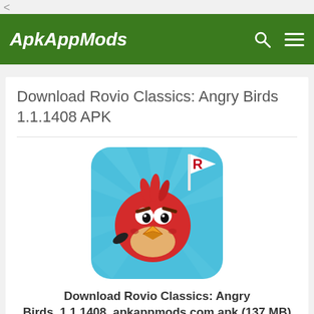ApkAppMods
Download Rovio Classics: Angry Birds 1.1.1408 APK
[Figure (illustration): Angry Birds app icon showing the red Angry Bird character on a blue background with a white Rovio flag logo in the upper right corner]
Download Rovio Classics: Angry Birds_1.1.1408_apkappmods.com.apk (137 MB)
Thank you for using apkappmods.com to download the apk file (Rovio Classics: Angry Birds_1.1.1408_apkappmods.com.apk) Click the button below to download the app.